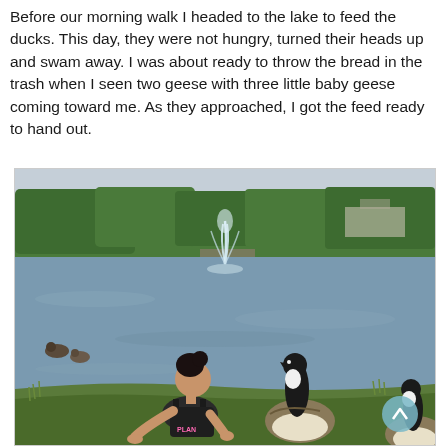Before our morning walk I headed to the lake to feed the ducks. This day, they were not hungry, turned their heads up and swam away. I was about ready to throw the bread in the trash when I seen two geese with three little baby geese coming toward me. As they approached, I got the feed ready to hand out.
[Figure (photo): A woman crouching by a lake feeding Canada geese. There is a fountain spraying water in the middle of the lake, trees in the background, and ducks swimming in the water on the left side. Two Canada geese are visible close to the woman on the grass at the shoreline. A circular scroll-up button is visible in the bottom right corner.]